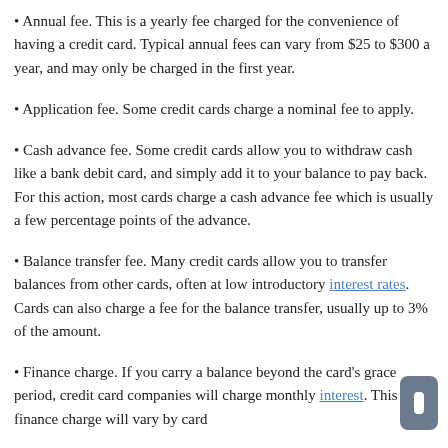Annual fee. This is a yearly fee charged for the convenience of having a credit card. Typical annual fees can vary from $25 to $300 a year, and may only be charged in the first year.
Application fee. Some credit cards charge a nominal fee to apply.
Cash advance fee. Some credit cards allow you to withdraw cash like a bank debit card, and simply add it to your balance to pay back. For this action, most cards charge a cash advance fee which is usually a few percentage points of the advance.
Balance transfer fee. Many credit cards allow you to transfer balances from other cards, often at low introductory interest rates. Cards can also charge a fee for the balance transfer, usually up to 3% of the amount.
Finance charge. If you carry a balance beyond the card's grace period, credit card companies will charge monthly interest. This finance charge will vary by card…